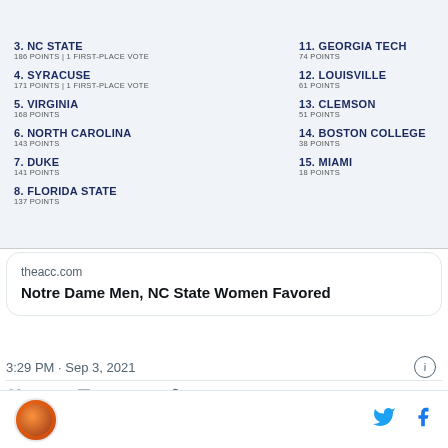[Figure (screenshot): ACC Cross Country Coaches Poll screenshot showing ranked teams: 3. NC State 186 points 1 first-place vote, 4. Syracuse 171 points 1 first-place vote, 5. Virginia 168 points, 6. North Carolina 143 points, 7. Duke 141 points, 8. Florida State 137 points, 11. Georgia Tech 74 points, 12. Louisville 61 points, 13. Clemson 51 points, 14. Boston College 38 points, 15. Miami 18 points]
theacc.com
Notre Dame Men, NC State Women Favored
3:29 PM · Sep 3, 2021
25  Reply  Copy link